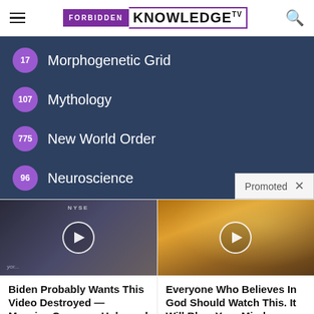FORBIDDEN KNOWLEDGE TV
17 Morphogenetic Grid
107 Mythology
775 New World Order
96 Neuroscience
[Figure (screenshot): Promoted ad thumbnail: man at NYSE studio desk]
Biden Probably Wants This Video Destroyed — Massive Currency Upheaval Has Started
Watch The Video
[Figure (screenshot): Promoted ad thumbnail: dramatic sky with sunbeams through clouds]
Everyone Who Believes In God Should Watch This. It Will Blow Your Mind
Watch The Video